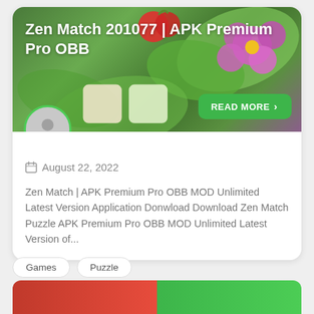[Figure (screenshot): Hero image of Zen Match game with colorful flowers and leaves on a green background]
Zen Match 201077 | APK Premium Pro OBB
READ MORE
August 22, 2022
Zen Match | APK Premium Pro OBB MOD Unlimited Latest Version Application Donwload Download Zen Match Puzzle APK Premium Pro OBB MOD Unlimited Latest Version of...
Games
Puzzle